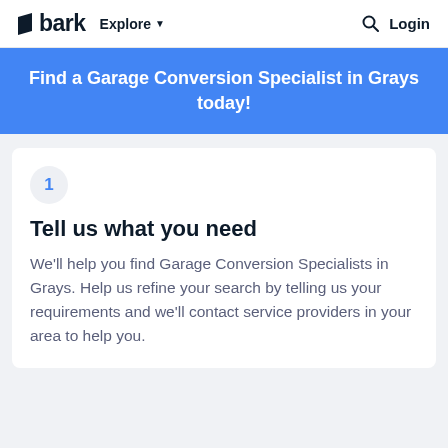bark  Explore  Login
Find a Garage Conversion Specialist in Grays today!
1
Tell us what you need
We'll help you find Garage Conversion Specialists in Grays. Help us refine your search by telling us your requirements and we'll contact service providers in your area to help you.